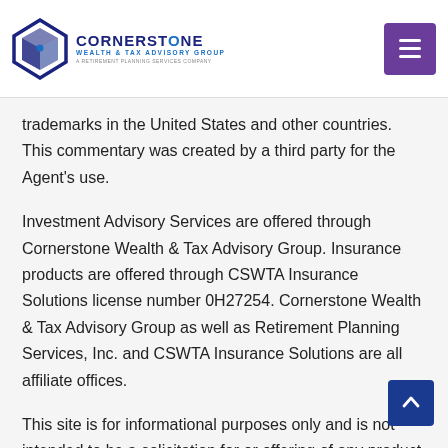Cornerstone Wealth & Tax Advisory Group — A Retirement Planning Services Company
trademarks in the United States and other countries. This commentary was created by a third party for the Agent's use.
Investment Advisory Services are offered through Cornerstone Wealth & Tax Advisory Group. Insurance products are offered through CSWTA Insurance Solutions license number 0H27254. Cornerstone Wealth & Tax Advisory Group as well as Retirement Planning Services, Inc. and CSWTA Insurance Solutions are all affiliate offices.
This site is for informational purposes only and is not intended to be a solicitation for or offering of any product or investment. The offer for sale of an insurance product may only be conducted in a state where the agent is licensed and the product is approved for sale. The providing of investment advice relating to securities may only be done by a properly licensed individual operating through a licensed